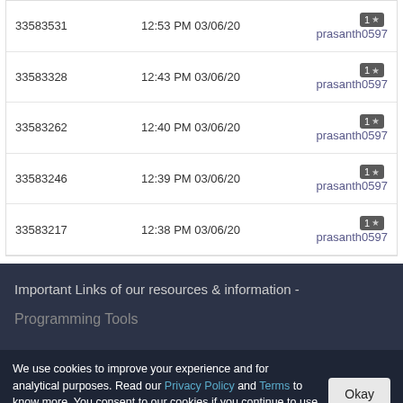| ID | Time | Rating / User |
| --- | --- | --- |
| 33583531 | 12:53 PM 03/06/20 | 1★ prasanth0597 |
| 33583328 | 12:43 PM 03/06/20 | 1★ prasanth0597 |
| 33583262 | 12:40 PM 03/06/20 | 1★ prasanth0597 |
| 33583246 | 12:39 PM 03/06/20 | 1★ prasanth0597 |
| 33583217 | 12:38 PM 03/06/20 | 1★ prasanth0597 |
Important Links of our resources & information -
Programming Tools
We use cookies to improve your experience and for analytical purposes. Read our Privacy Policy and Terms to know more. You consent to our cookies if you continue to use our website.